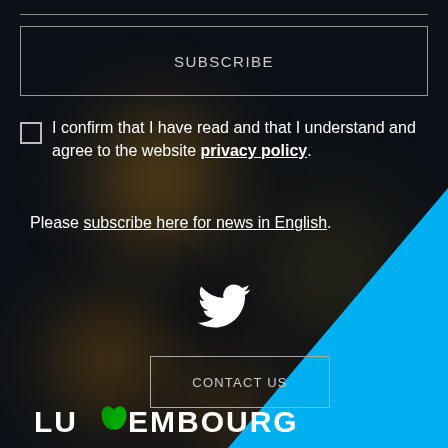[Figure (screenshot): Dark bokeh background with blurred amber/orange light circles and a blue triangle wedge in the bottom-right corner]
SUBSCRIBE
I confirm that I have read and that I understand and agree to the website privacy policy
Please subscribe here for news in English.
[Figure (illustration): White Twitter bird icon]
CONTACT US
LUXEMBOURG